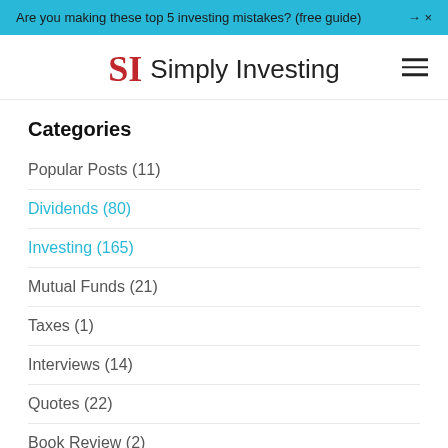Are you making these top 5 investing mistakes? (free guide) → ×
SI Simply Investing
Categories
Popular Posts (11)
Dividends (80)
Investing (165)
Mutual Funds (21)
Taxes (1)
Interviews (14)
Quotes (22)
Book Review (2)